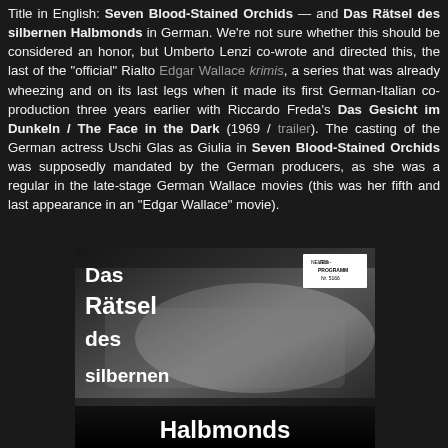Title in English: Seven Blood-Stained Orchids — and Das Rätsel des silbernen Halbmonds in German. We're not sure whether this should be considered an honor, but Umberto Lenzi co-wrote and directed this, the last of the "official" Rialto Edgar Wallace krimis, a series that was already wheezing and on its last legs when it made its first German-Italian co-production three years earlier with Riccardo Freda's Das Gesicht im Dunkeln / The Face in the Dark (1969 / trailer). The casting of the German actress Uschi Glas as Giulia in Seven Blood-Stained Orchids was supposedly mandated by the German producers, as she was a regular in the late-stage German Wallace movies (this was her fifth and last appearance in an "Edgar Wallace" movie).
[Figure (photo): Black and white movie poster for 'Das Rätsel des silbernen Halbmonds' showing a dramatic scene with large German text title and a small 'Neues Film-Programm Nr. 5166' badge in the upper right corner. The word 'Halbmonds' appears at the bottom on a dark background.]